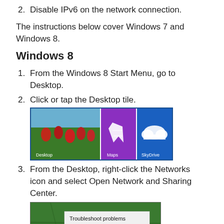2. Disable IPv6 on the network connection.
The instructions below cover Windows 7 and Windows 8.
Windows 8
1. From the Windows 8 Start Menu, go to Desktop.
2. Click or tap the Desktop tile.
[Figure (screenshot): Windows 8 Start Menu tiles showing Desktop (tulip field background), Maps (purple tile with map icon), and SkyDrive (blue tile with cloud icon)]
3. From the Desktop, right-click the Networks icon and select Open Network and Sharing Center.
[Figure (screenshot): Windows Desktop context menu showing 'Troubleshoot problems' and 'Open Network and Sharing Center' options on a green leaf background]